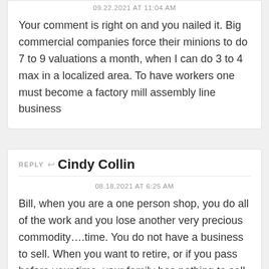09.22.2021 AT 11:04 AM
Your comment is right on and you nailed it. Big commercial companies force their minions to do 7 to 9 valuations a month, when I can do 3 to 4 max in a localized area. To have workers one must become a factory mill assembly line business
REPLY ↩ Cindy Collin
08.18.2021 AT 6:25 AM
Bill, when you are a one person shop, you do all of the work and you lose another very precious commodity….time. You do not have a business to sell. When you want to retire, or if you pass before your time, your family has nothing to sell. You don't sacrifice quality to run a business.